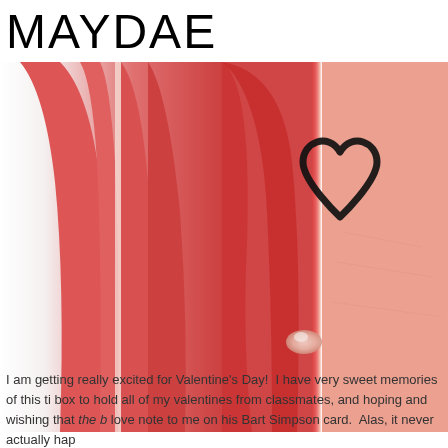MAYDAE
[Figure (photo): Close-up photo of a hand/wrist with a hand-drawn heart outline in black marker. Two fingers are pressed together on the left side, and a black outlined heart shape is drawn on the skin on the right side. The skin tones range from pink to light peach.]
I am getting really excited for Valentine's Day!  I have very sweet memories of this ti box to hold all of my valentines from classmates, and hoping and wishing that the b love note to me on his Bart Simpson card.  Alas, it never actually hap